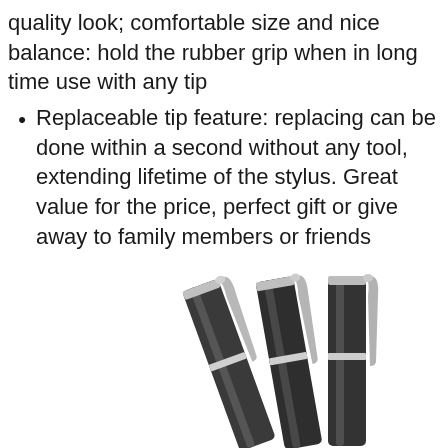quality look; comfortable size and nice balance: hold the rubber grip when in long time use with any tip
Replaceable tip feature: replacing can be done within a second without any tool, extending lifetime of the stylus. Great value for the price, perfect gift or give away to family members or friends
[Figure (photo): Three black stylus pens with silver clips and ring accents shown diagonally, photographed from above on a white background]